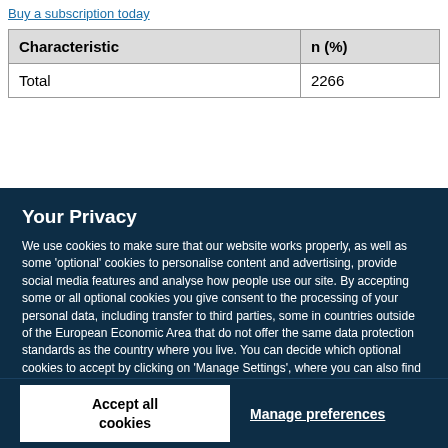| Characteristic | n (%) |
| --- | --- |
| Total | 2266 |
Your Privacy
We use cookies to make sure that our website works properly, as well as some ‘optional’ cookies to personalise content and advertising, provide social media features and analyse how people use our site. By accepting some or all optional cookies you give consent to the processing of your personal data, including transfer to third parties, some in countries outside of the European Economic Area that do not offer the same data protection standards as the country where you live. You can decide which optional cookies to accept by clicking on ‘Manage Settings’, where you can also find more information about how your personal data is processed. Further information can be found in our privacy policy.
Accept all cookies
Manage preferences